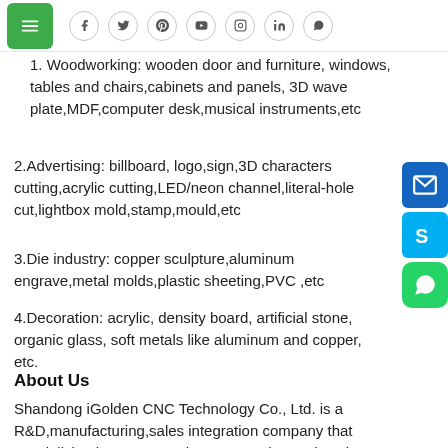Navigation bar with hamburger menu and social icons (Facebook, Twitter, Pinterest, YouTube, Instagram, LinkedIn, WhatsApp)
1. Woodworking: wooden door and furniture, windows, tables and chairs,cabinets and panels, 3D wave plate,MDF,computer desk,musical instruments,etc
2.Advertising: billboard, logo,sign,3D characters cutting,acrylic cutting,LED/neon channel,literal-hole cut,lightbox mold,stamp,mould,etc
3.Die industry: copper sculpture,aluminum engrave,metal molds,plastic sheeting,PVC ,etc
4.Decoration: acrylic, density board, artificial stone, organic glass, soft metals like aluminum and copper, etc.
About Us
Shandong iGolden CNC Technology Co., Ltd. is a R&D,manufacturing,sales integration company that specializing in cnc router, laser engraving and cutting machine, plasma cutting machine, cutting plotter etc.The main configuration all